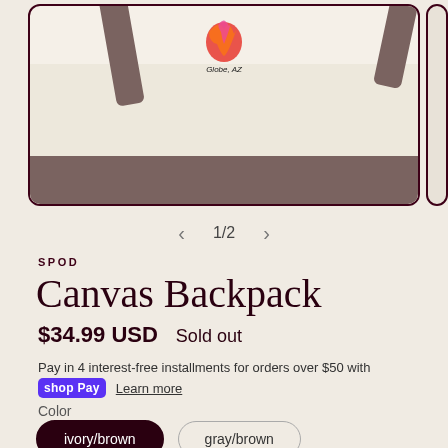[Figure (photo): A canvas backpack with ivory/cream body and brown bottom and straps. Features a colorful phoenix/bird logo with text 'Globe, AZ' on the front. The bag is shown inside a dark maroon rounded-rectangle border.]
1/2
SPOD
Canvas Backpack
$34.99 USD   Sold out
Pay in 4 interest-free installments for orders over $50 with
shop Pay   Learn more
Color
ivory/brown   gray/brown